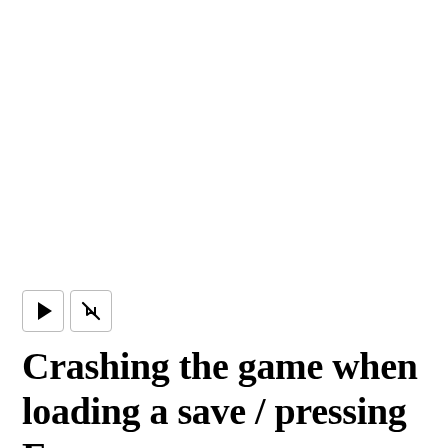[Figure (other): Video player area with play and mute control buttons]
Crashing the game when loading a save / pressing Esc